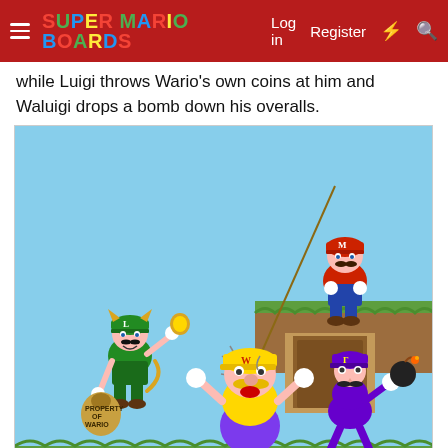Super Mario Boards – Log in  Register
while Luigi throws Wario's own coins at him and Waluigi drops a bomb down his overalls.
[Figure (illustration): Fan-art illustration showing Mario on a ledge holding a fishing rod, Luigi in a cat suit holding coins and a bag labeled 'Property of Wario', Wario in the center being hit by a coin with hands raised, and Waluigi emerging from a doorway in the wall holding a lit bomb, all against a light blue sky background with green grass and dirt platform.]